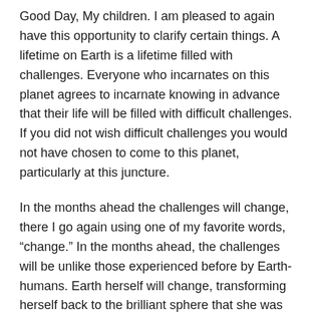Good Day, My children. I am pleased to again have this opportunity to clarify certain things. A lifetime on Earth is a lifetime filled with challenges. Everyone who incarnates on this planet agrees to incarnate knowing in advance that their life will be filled with difficult challenges. If you did not wish difficult challenges you would not have chosen to come to this planet, particularly at this juncture.
In the months ahead the challenges will change, there I go again using one of my favorite words, “change.” In the months ahead, the challenges will be unlike those experienced before by Earth-humans. Earth herself will change, transforming herself back to the brilliant sphere that she was when humans first arrived. This returning will cause many dislocations in what you believe is the natural order of things.